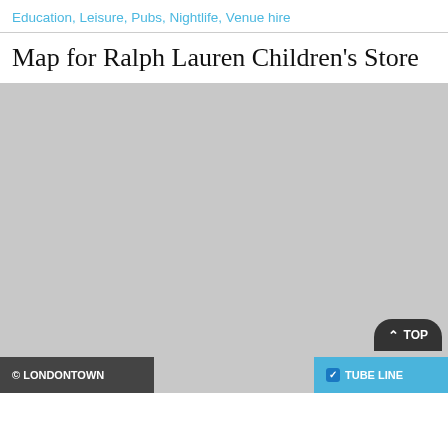Education, Leisure, Pubs, Nightlife, Venue hire
Map for Ralph Lauren Children's Store
[Figure (map): A grey placeholder map area for Ralph Lauren Children's Store location]
© LONDONTOWN   ^ TOP   TUBE LINE